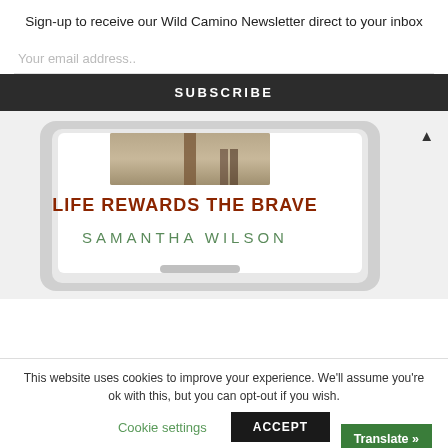Sign-up to receive our Wild Camino Newsletter direct to your inbox
Your email address..
SUBSCRIBE
[Figure (screenshot): Tablet device showing a book cover with title 'Life Rewards The Brave' by Samantha Wilson, with a photo of a path at top]
This website uses cookies to improve your experience. We'll assume you're ok with this, but you can opt-out if you wish.
Cookie settings
ACCEPT
Translate »